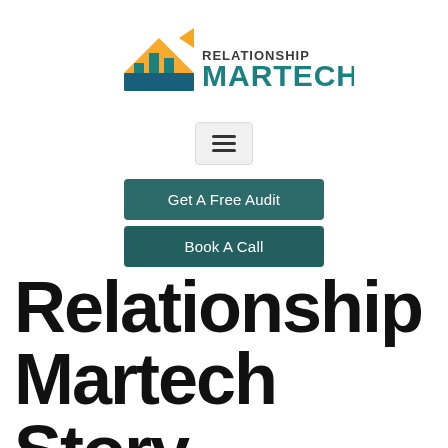[Figure (logo): Relationship Martech logo with orange/teal house and bar chart icon and upward arrow, text 'RELATIONSHIP MARTECH' in teal]
[Figure (other): Hamburger menu button with three horizontal lines on light gray background]
Get A Free Audit
Book A Call
Relationship Martech Story.
Relationship Marteck is Tom McClintock's third agency, built off the success of the first two. Phoenix Media